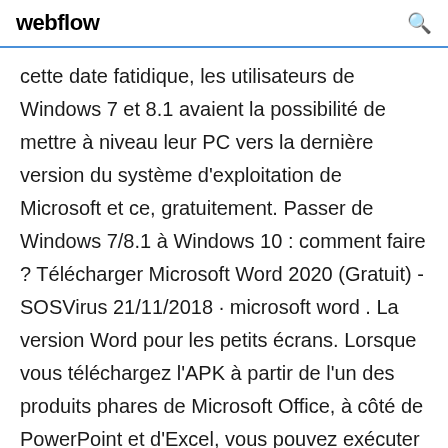webflow
cette date fatidique, les utilisateurs de Windows 7 et 8.1 avaient la possibilité de mettre à niveau leur PC vers la dernière version du système d'exploitation de Microsoft et ce, gratuitement. Passer de Windows 7/8.1 à Windows 10 : comment faire ? Télécharger Microsoft Word 2020 (Gratuit) - SOSVirus 21/11/2018 · microsoft word . La version Word pour les petits écrans. Lorsque vous téléchargez l'APK à partir de l'un des produits phares de Microsoft Office, à côté de PowerPoint et d'Excel, vous pouvez exécuter toutes les fonctions de base de la version de bureau, mais avec des fonctions tactiles adaptées aux écrans mobiles afin que vous